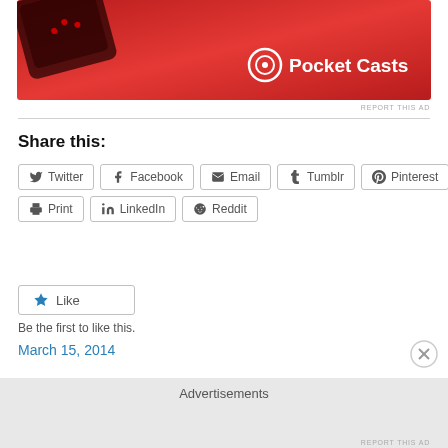[Figure (photo): Pocket Casts advertisement banner with red background showing a phone device and the Pocket Casts logo with text]
REPORT THIS AD
Share this:
Twitter
Facebook
Email
Tumblr
Pinterest
Print
LinkedIn
Reddit
Like
Be the first to like this.
March 15, 2014
Advertisements
REPORT THIS AD